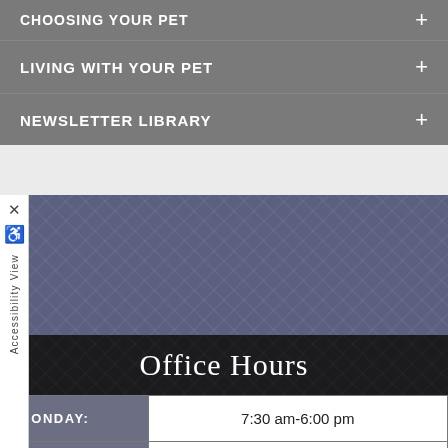CHOOSING YOUR PET +
LIVING WITH YOUR PET +
NEWSLETTER LIBRARY +
Office Hours
| Day | Hours |
| --- | --- |
| MONDAY: | 7:30 am-6:00 pm |
| TUESDAY: | 7:30 am-6:00 pm |
| WEDNESDAY: | 7:30 am-6:00 pm |
| THURSDAY: | 7:30 am-6:00 pm |